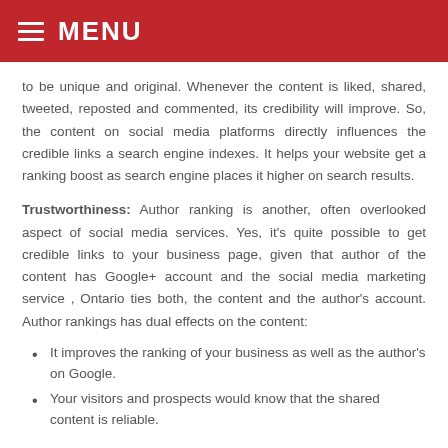MENU
to be unique and original. Whenever the content is liked, shared, tweeted, reposted and commented, its credibility will improve. So, the content on social media platforms directly influences the credible links a search engine indexes. It helps your website get a ranking boost as search engine places it higher on search results.
Trustworthiness: Author ranking is another, often overlooked aspect of social media services. Yes, it's quite possible to get credible links to your business page, given that author of the content has Google+ account and the social media marketing service , Ontario ties both, the content and the author's account. Author rankings has dual effects on the content:
It improves the ranking of your business as well as the author's on Google.
Your visitors and prospects would know that the shared content is reliable.
How Social Media Marketing Improves